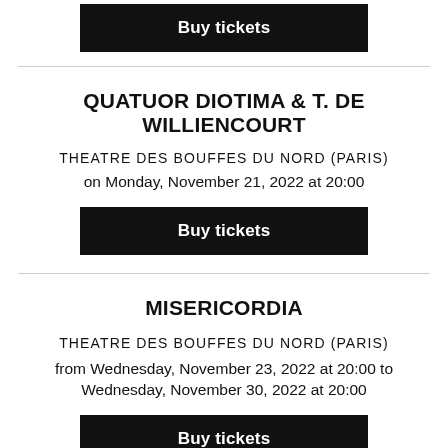[Figure (other): Buy tickets button (black rectangle) at top of page, partially visible]
QUATUOR DIOTIMA & T. DE WILLIENCOURT
THEATRE DES BOUFFES DU NORD (PARIS)
on Monday, November 21, 2022 at 20:00
[Figure (other): Buy tickets button (black rectangle)]
MISERICORDIA
THEATRE DES BOUFFES DU NORD (PARIS)
from Wednesday, November 23, 2022 at 20:00 to Wednesday, November 30, 2022 at 20:00
[Figure (other): Buy tickets button (black rectangle), partially visible at bottom]